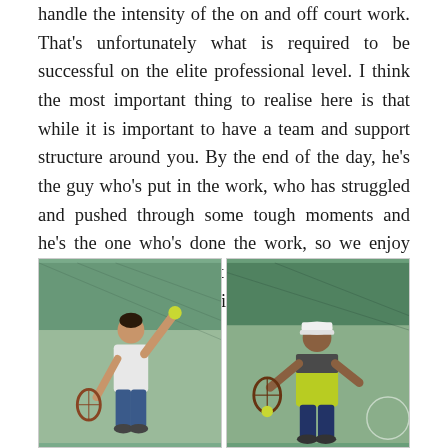handle the intensity of the on and off court work. That's unfortunately what is required to be successful on the elite professional level. I think the most important thing to realise here is that while it is important to have a team and support structure around you. By the end of the day, he's the guy who's put in the work, who has struggled and pushed through some tough moments and he's the one who's done the work, so we enjoy success through him, but it is his success and he's the most responsible for it.
[Figure (photo): Two tennis players on a court. Left: a man in a white long-sleeve shirt tossing a tennis ball up to serve. Right: a man in a yellow-green vest and white cap in ready position holding a tennis racket.]